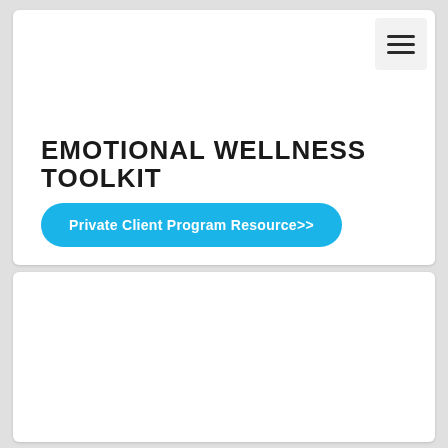[Figure (screenshot): Hamburger menu icon (three horizontal lines) in a light gray rounded square button in the top-right corner of the page]
EMOTIONAL WELLNESS TOOLKIT
Private Client Program Resource>>